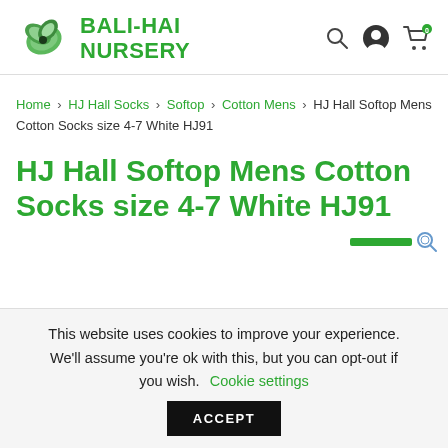BALI-HAI NURSERY
Home > HJ Hall Socks > Softop > Cotton Mens > HJ Hall Softop Mens Cotton Socks size 4-7 White HJ91
HJ Hall Softop Mens Cotton Socks size 4-7 White HJ91
This website uses cookies to improve your experience. We'll assume you're ok with this, but you can opt-out if you wish. Cookie settings ACCEPT